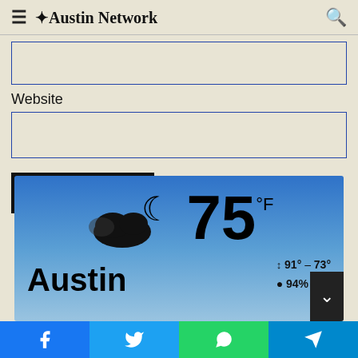≡ ✼Austin Network 🔍
Website
[Figure (screenshot): Weather widget showing Austin, TX weather: 75°F, cloudy night icon, high 91° - low 73°, 94% humidity]
[Figure (infographic): Social share bar with Facebook, Twitter, WhatsApp, and Telegram buttons]